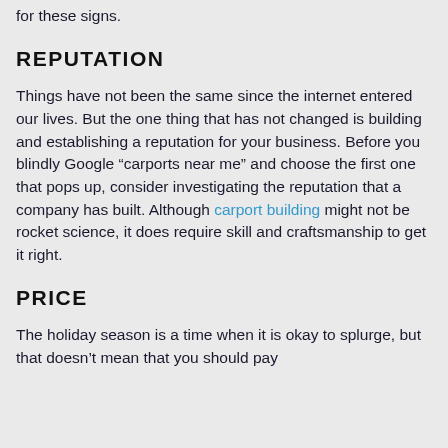for these signs.
REPUTATION
Things have not been the same since the internet entered our lives. But the one thing that has not changed is building and establishing a reputation for your business. Before you blindly Google “carports near me” and choose the first one that pops up, consider investigating the reputation that a company has built. Although carport building might not be rocket science, it does require skill and craftsmanship to get it right.
PRICE
The holiday season is a time when it is okay to splurge, but that doesn’t mean that you should pay